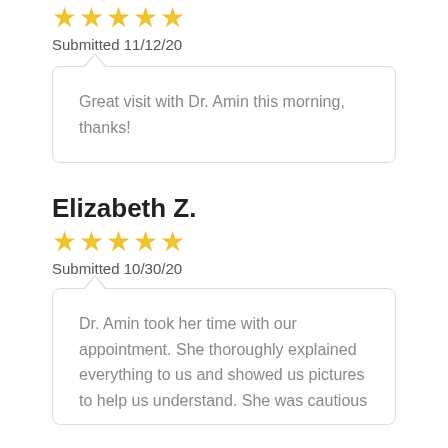[Figure (other): 5 gold stars rating (partially visible at top)]
Submitted 11/12/20
Great visit with Dr. Amin this morning, thanks!
Elizabeth Z.
[Figure (other): 5 gold stars rating]
Submitted 10/30/20
Dr. Amin took her time with our appointment. She thoroughly explained everything to us and showed us pictures to help us understand. She was cautious